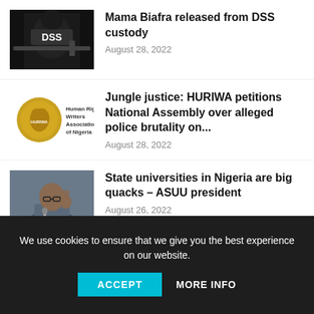[Figure (photo): DSS officer in tactical gear holding a rifle, dark background with DSS text on uniform]
Mama Biafra released from DSS custody
August 28, 2022
[Figure (logo): Human Rights Writers Association of Nigeria (HURIWA) gold logo with map of Nigeria, and text: Human Rights Writers Association of Nigeria]
Jungle justice: HURIWA petitions National Assembly over alleged police brutality on...
August 28, 2022
[Figure (photo): Man in suit gesturing with raised hand at a press conference with microphones, grey background]
State universities in Nigeria are big quacks – ASUU president
August 26, 2022
We use cookies to ensure that we give you the best experience on our website.
ACCEPT
MORE INFO